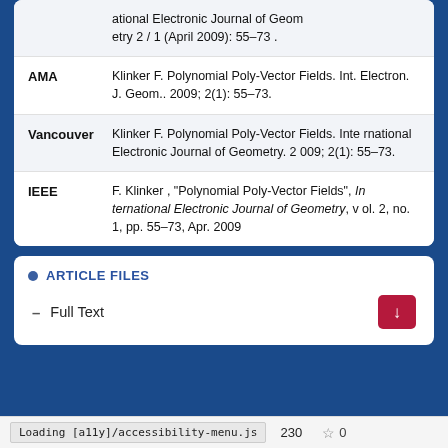| Style | Citation |
| --- | --- |
|  | ational Electronic Journal of Geometry 2 / 1 (April 2009): 55-73 . |
| AMA | Klinker F. Polynomial Poly-Vector Fields. Int. Electron. J. Geom.. 2009; 2(1): 55-73. |
| Vancouver | Klinker F. Polynomial Poly-Vector Fields. International Electronic Journal of Geometry. 2 009; 2(1): 55-73. |
| IEEE | F. Klinker , "Polynomial Poly-Vector Fields", International Electronic Journal of Geometry, vol. 2, no. 1, pp. 55-73, Apr. 2009 |
ARTICLE FILES
Full Text
Loading [a11y]/accessibility-menu.js   230   ☆ 0